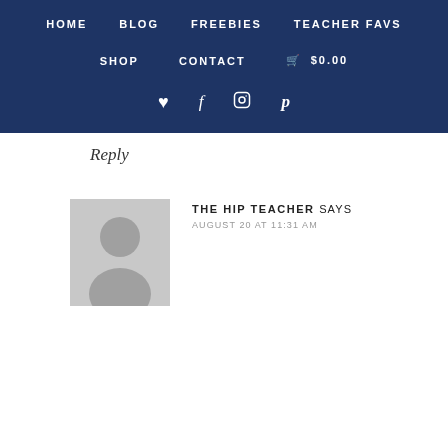HOME   BLOG   FREEBIES   TEACHER FAVS   SHOP   CONTACT   🛒 $0.00   ♥ f Instagram Pinterest
Reply
[Figure (illustration): Grey silhouette avatar placeholder image for user profile]
THE HIP TEACHER SAYS
AUGUST 20 AT 11:31 AM